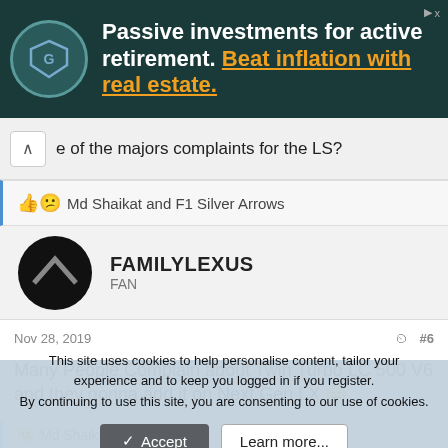[Figure (advertisement): Dark teal ad banner with a shield logo. Text: 'Passive investments for active retirement. Beat inflation with real estate.']
e of the majors complaints for the LS?
👍 😕 Md Shaikat and F1 Silver Arrows
FAMILYLEXUS
FAN
Nov 28, 2019  #6
Many People Complain about Twin Turbo LC 500 V6 and they gonna add it on Next Gen LX 😑
😕 Md Shaikat
This site uses cookies to help personalise content, tailor your experience and to keep you logged in if you register.
By continuing to use this site, you are consenting to our use of cookies.